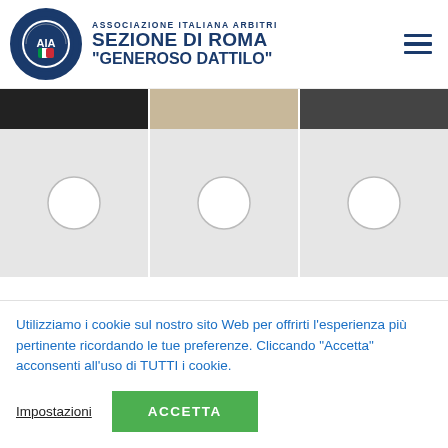[Figure (logo): AIA Associazione Italiana Arbitri circular logo with blue border, AIA letters and FIGC badge]
ASSOCIAZIONE ITALIANA ARBITRI
SEZIONE DI ROMA
"GENEROSO DATTILO"
[Figure (photo): Carousel with three image panels partially visible at top (dark, beige, dark) and three white panels with circular placeholder images below]
Scatti della Riunione Tecnica Obbligatoria del 4
Utilizziamo i cookie sul nostro sito Web per offrirti l'esperienza più pertinente ricordando le tue preferenze. Cliccando "Accetta" acconsenti all'uso di TUTTI i cookie.
Impostazioni
ACCETTA